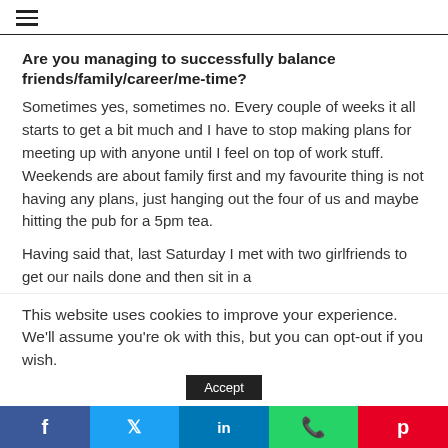≡
Are you managing to successfully balance friends/family/career/me-time?
Sometimes yes, sometimes no. Every couple of weeks it all starts to get a bit much and I have to stop making plans for meeting up with anyone until I feel on top of work stuff. Weekends are about family first and my favourite thing is not having any plans, just hanging out the four of us and maybe hitting the pub for a 5pm tea.
Having said that, last Saturday I met with two girlfriends to get our nails done and then sit in a
This website uses cookies to improve your experience. We'll assume you're ok with this, but you can opt-out if you wish.